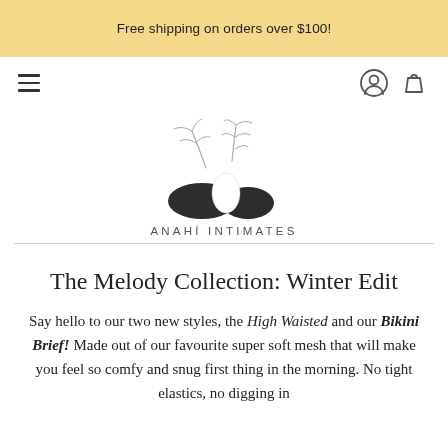Free shipping on orders over $100!
[Figure (logo): Anahí Intimates logo with botanical illustration above text ANAHÍ INTIMATES]
The Melody Collection: Winter Edit
Say hello to our two new styles, the High Waisted and our Bikini Brief! Made out of our favourite super soft mesh that will make you feel so comfy and snug first thing in the morning. No tight elastics, no digging in